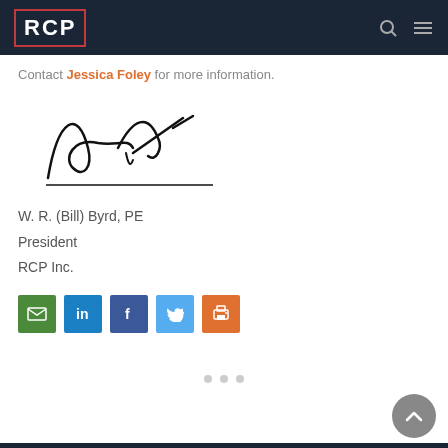RCP
Contact Jessica Foley for more information.
[Figure (illustration): Handwritten signature of W. R. (Bill) Byrd, PE]
W. R. (Bill) Byrd, PE
President
RCP Inc.
[Figure (infographic): Social sharing buttons: Email, LinkedIn, Facebook, Twitter, Print]